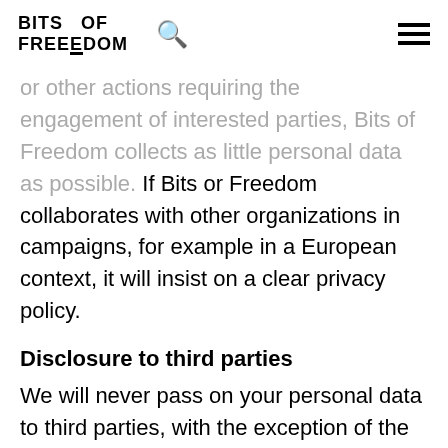BITS OF FREEDOM
or other actions requiring the engagement of interested parties, Bits of Freedom collects as little personal data as possible. If Bits or Freedom collaborates with other organizations in campaigns, for example in a European context, it will insist on a clear privacy policy.
Disclosure to third parties
We will never pass on your personal data to third parties, with the exception of the cases explicitly mentioned in the contents of our privacy statement. The only two